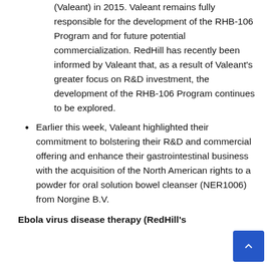(Valeant) in 2015. Valeant remains fully responsible for the development of the RHB-106 Program and for future potential commercialization. RedHill has recently been informed by Valeant that, as a result of Valeant's greater focus on R&D investment, the development of the RHB-106 Program continues to be explored.
Earlier this week, Valeant highlighted their commitment to bolstering their R&D and commercial offering and enhance their gastrointestinal business with the acquisition of the North American rights to a powder for oral solution bowel cleanser (NER1006) from Norgine B.V.
Ebola virus disease therapy (RedHill's